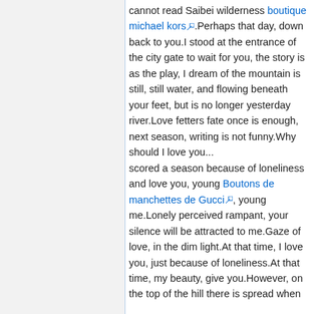cannot read Saibei wilderness boutique michael kors. Perhaps that day, down back to you.I stood at the entrance of the city gate to wait for you, the story is as the play, I dream of the mountain is still, still water, and flowing beneath your feet, but is no longer yesterday river.Love fetters fate once is enough, next season, writing is not funny.Why should I love you...
scored a season because of loneliness and love you, young Boutons de manchettes de Gucci, young me.Lonely perceived rampant, your silence will be attracted to me.Gaze of love, in the dim light.At that time, I love you, just because of loneliness.At that time, my beauty, give you.However, on the top of the hill there is spread when